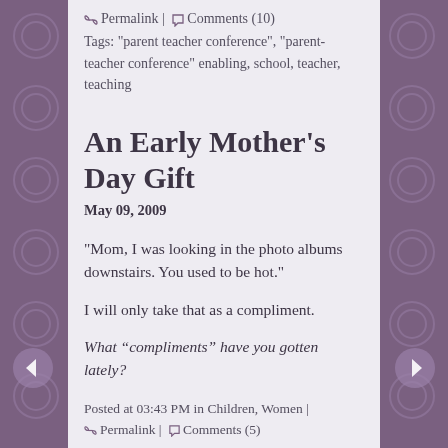🔗 Permalink | 💬 Comments (10)
Tags: "parent teacher conference", "parent-teacher conference" enabling, school, teacher, teaching
An Early Mother's Day Gift
May 09, 2009
"Mom, I was looking in the photo albums downstairs. You used to be hot."
I will only take that as a compliment.
What “compliments” have you gotten lately?
Posted at 03:43 PM in Children, Women |
🔗 Permalink | 💬 Comments (5)